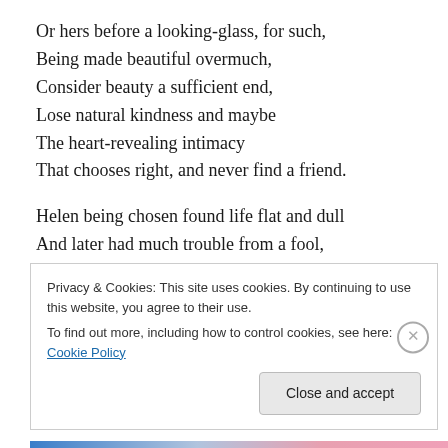Or hers before a looking-glass, for such,
Being made beautiful overmuch,
Consider beauty a sufficient end,
Lose natural kindness and maybe
The heart-revealing intimacy
That chooses right, and never find a friend.

Helen being chosen found life flat and dull
And later had much trouble from a fool,
While that great Queen, that rose out of the spray,
Being fatherless could have her way
Privacy & Cookies: This site uses cookies. By continuing to use this website, you agree to their use.
To find out more, including how to control cookies, see here: Cookie Policy
[Close and accept]